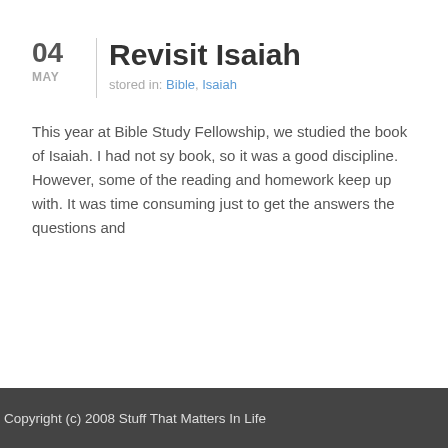04 MAY | Revisit Isaiah
stored in: Bible, Isaiah
This year at Bible Study Fellowship, we studied the book of Isaiah. I had not sy book, so it was a good discipline. However, some of the reading and homework keep up with. It was time consuming just to get the answers the questions and
Copyright (c) 2008 Stuff That Matters In Life